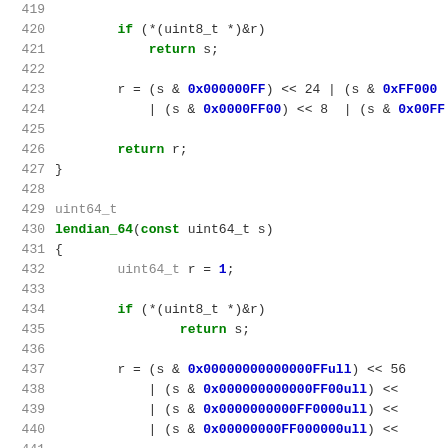[Figure (screenshot): Source code listing in C showing lendian functions with syntax highlighting. Lines 419-445 are shown. Green keywords, blue hex literals, gray type names.]